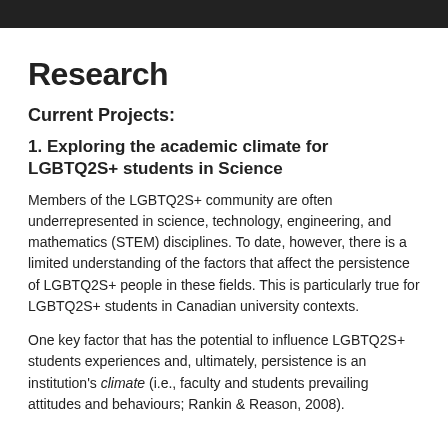Research
Current Projects:
1. Exploring the academic climate for LGBTQ2S+ students in Science
Members of the LGBTQ2S+ community are often underrepresented in science, technology, engineering, and mathematics (STEM) disciplines. To date, however, there is a limited understanding of the factors that affect the persistence of LGBTQ2S+ people in these fields. This is particularly true for LGBTQ2S+ students in Canadian university contexts.
One key factor that has the potential to influence LGBTQ2S+ students experiences and, ultimately, persistence is an institution's climate (i.e., faculty and students prevailing attitudes and behaviours; Rankin & Reason, 2008).